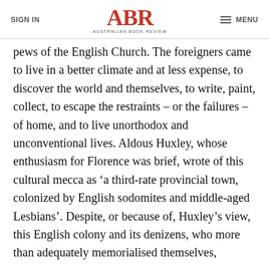SIGN IN | ABR AUSTRALIAN BOOK REVIEW | MENU
pews of the English Church. The foreigners came to live in a better climate and at less expense, to discover the world and themselves, to write, paint, collect, to escape the restraints – or the failures – of home, and to live unorthodox and unconventional lives. Aldous Huxley, whose enthusiasm for Florence was brief, wrote of this cultural mecca as ‘a third-rate provincial town, colonized by English sodomites and middle-aged Lesbians’. Despite, or because of, Huxley’s view, this English colony and its denizens, who more than adequately memorialised themselves,